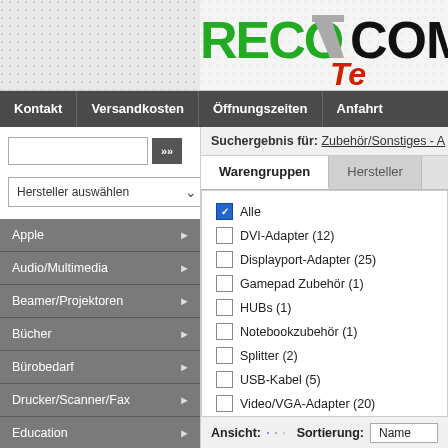[Figure (logo): RECOA COMPUTER logo with dotted background, green stylized text RECOA, black COMPU and red Te partially visible]
Kontakt | Versandkosten | Öffnungszeiten | Anfahrt
Suchergebnis für: Zubehör/Sonstiges - A
Warengruppen
Hersteller
Alle (checked)
DVI-Adapter (12)
Displayport-Adapter (25)
Gamepad Zubehör (1)
HUBs (1)
Notebookzubehör (1)
Splitter (2)
USB-Kabel (5)
Video/VGA-Adapter (20)
Hersteller auswählen
Apple
Audio/Multimedia
Beamer/Projektoren
Bücher
Bürobedarf
Drucker/Scanner/Fax
Education
Einzebgeräte
Ansicht:  Sortierung: Name